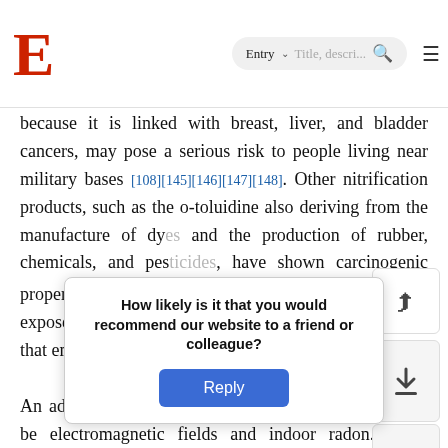E [logo] | Entry | Title, description search bar
because it is linked with breast, liver, and bladder cancers, may pose a serious risk to people living near military bases [108][145][146][147][148]. Other nitrification products, such as the o-toluidine also deriving from the manufacture of dyes and the production of rubber, chemicals, and pesticides, have shown carcinogenic properties [149][150] and constitute another risk to exposed populations living close to plants and factories that emit toluidine.
An additional source of carcinogenicity in the air may be electromagnetic fields and indoor radon. Some evidence is emerging about the risk posed by electricity (dropdown) much, and wires (partially obscured) strong evidence (partially obscured) and brain cancer (partially obscured) exposure to electromagnetic (partially obscured) ones [154]
How likely is it that you would recommend our website to a friend or colleague? Reply